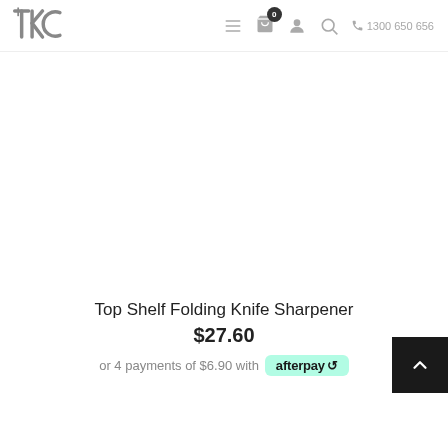TKC | hamburger menu | cart (0) | account | search | phone 1300 650 656
[Figure (photo): Product image area — white/blank space where product photo would appear]
Top Shelf Folding Knife Sharpener
$27.60
or 4 payments of $6.90 with afterpay